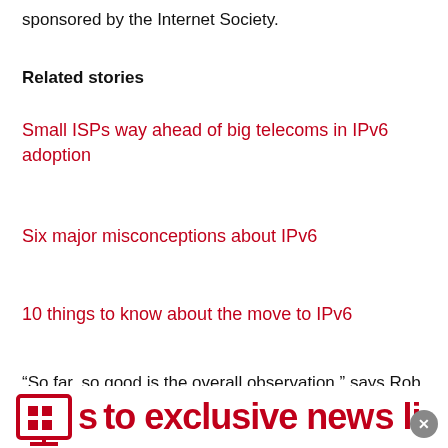sponsored by the Internet Society.
Related stories
Small ISPs way ahead of big telecoms in IPv6 adoption
Six major misconceptions about IPv6
10 things to know about the move to IPv6
“So far, so good is the overall observation,” says Rob Malan, co-founder and CTO of Arbor Networks. “Nothing appears to be totally broken, although there
s□to exclusive news li